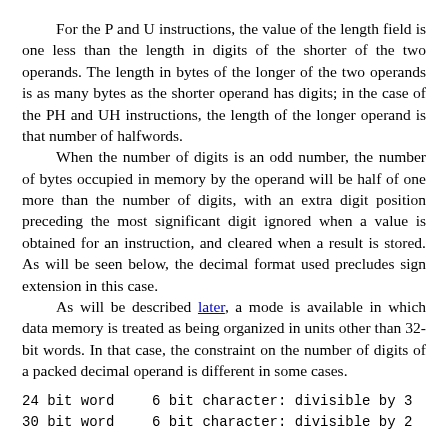For the P and U instructions, the value of the length field is one less than the length in digits of the shorter of the two operands. The length in bytes of the longer of the two operands is as many bytes as the shorter operand has digits; in the case of the PH and UH instructions, the length of the longer operand is that number of halfwords.

When the number of digits is an odd number, the number of bytes occupied in memory by the operand will be half of one more than the number of digits, with an extra digit position preceding the most significant digit ignored when a value is obtained for an instruction, and cleared when a result is stored. As will be seen below, the decimal format used precludes sign extension in this case.

As will be described later, a mode is available in which data memory is treated as being organized in units other than 32-bit words. In that case, the constraint on the number of digits of a packed decimal operand is different in some cases.
24 bit word   6 bit character: divisible by 3
30 bit word   6 bit character: divisible by 2